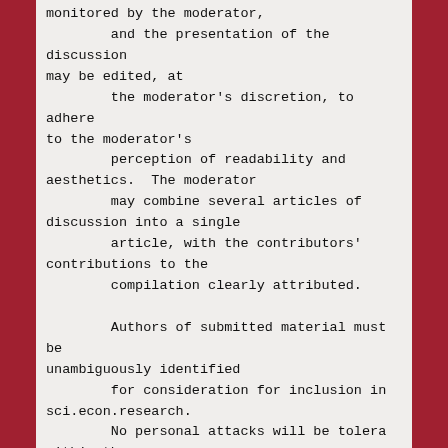monitored by the moderator,
        and the presentation of the discussion may be edited, at
        the moderator's discretion, to adhere to the moderator's
        perception of readability and aesthetics.  The moderator
        may combine several articles of discussion into a single
        article, with the contributors' contributions to the
        compilation clearly attributed.

        Authors of submitted material must be unambiguously identified
        for consideration for inclusion in sci.econ.research.
        No personal attacks will be tolerated within the newsgroup.

        The contents of sci.econ.research will